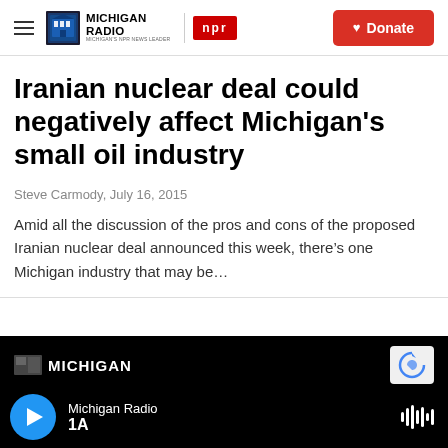Michigan Radio | NPR | Donate
Iranian nuclear deal could negatively affect Michigan's small oil industry
Steve Carmody, July 16, 2015
Amid all the discussion of the pros and cons of the proposed Iranian nuclear deal announced this week, there’s one Michigan industry that may be…
Michigan Radio | 1A